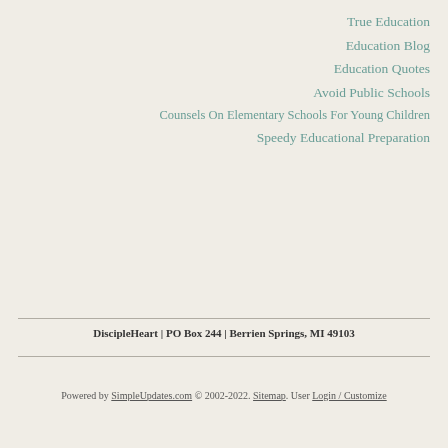True Education
Education Blog
Education Quotes
Avoid Public Schools
Counsels On Elementary Schools For Young Children
Speedy Educational Preparation
DiscipleHeart | PO Box 244 | Berrien Springs, MI 49103
Powered by SimpleUpdates.com © 2002-2022. Sitemap. User Login / Customize